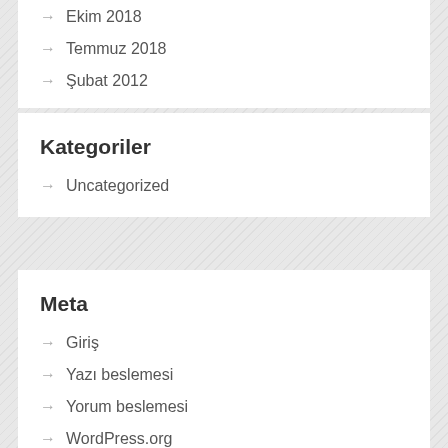Ekim 2018
Temmuz 2018
Şubat 2012
Kategoriler
Uncategorized
Meta
Giriş
Yazı beslemesi
Yorum beslemesi
WordPress.org